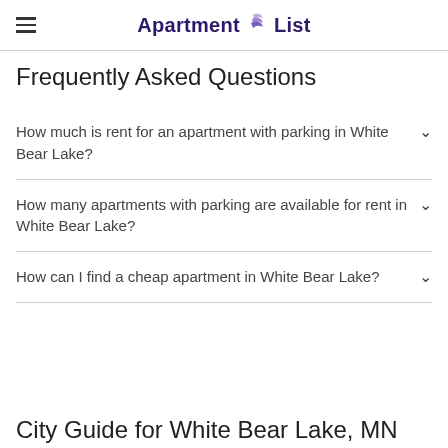Apartment List
Frequently Asked Questions
How much is rent for an apartment with parking in White Bear Lake?
How many apartments with parking are available for rent in White Bear Lake?
How can I find a cheap apartment in White Bear Lake?
City Guide for White Bear Lake, MN